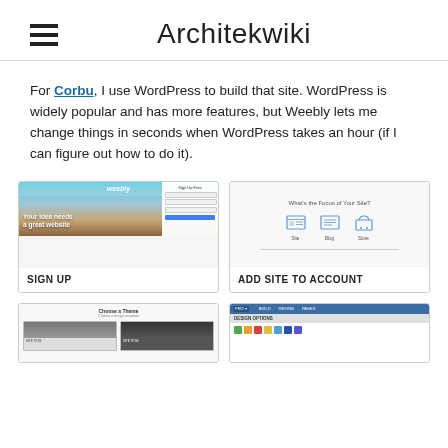Architekwiki
For Corbu, I use WordPress to build that site. WordPress is widely popular and has more features, but Weebly lets me change things in seconds when WordPress takes an hour (if I can figure out how to do it).
[Figure (screenshot): Weebly sign up page screenshot with label SIGN UP]
[Figure (screenshot): Weebly add site to account page showing Site, Blog, Store icons with label ADD SITE TO ACCOUNT]
[Figure (screenshot): Weebly choose a theme page showing theme thumbnails (partially visible)]
[Figure (screenshot): Weebly PRO design options page showing color palette (partially visible)]